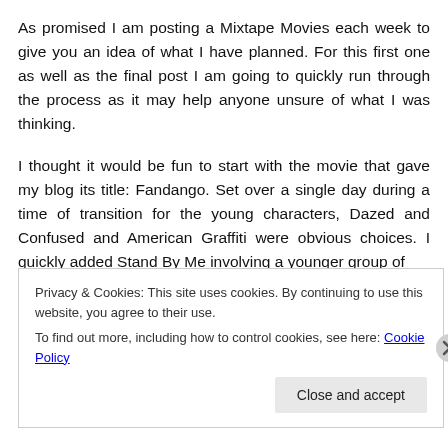As promised I am posting a Mixtape Movies each week to give you an idea of what I have planned. For this first one as well as the final post I am going to quickly run through the process as it may help anyone unsure of what I was thinking.
I thought it would be fun to start with the movie that gave my blog its title: Fandango. Set over a single day during a time of transition for the young characters, Dazed and Confused and American Graffiti were obvious choices. I quickly added Stand By Me involving a younger group of
Privacy & Cookies: This site uses cookies. By continuing to use this website, you agree to their use.
To find out more, including how to control cookies, see here: Cookie Policy